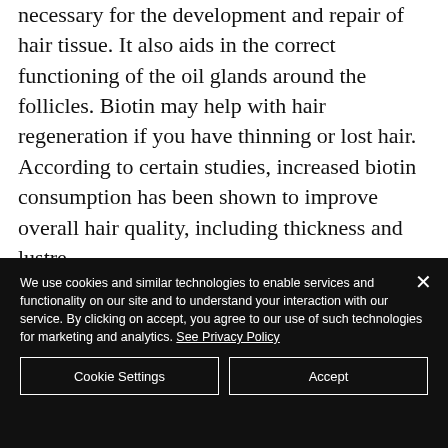necessary for the development and repair of hair tissue. It also aids in the correct functioning of the oil glands around the follicles. Biotin may help with hair regeneration if you have thinning or lost hair. According to certain studies, increased biotin consumption has been shown to improve overall hair quality, including thickness and lustre.
We use cookies and similar technologies to enable services and functionality on our site and to understand your interaction with our service. By clicking on accept, you agree to our use of such technologies for marketing and analytics. See Privacy Policy